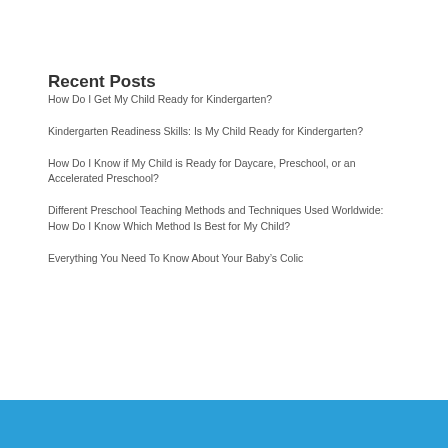Recent Posts
How Do I Get My Child Ready for Kindergarten?
Kindergarten Readiness Skills: Is My Child Ready for Kindergarten?
How Do I Know if My Child is Ready for Daycare, Preschool, or an Accelerated Preschool?
Different Preschool Teaching Methods and Techniques Used Worldwide: How Do I Know Which Method Is Best for My Child?
Everything You Need To Know About Your Baby's Colic